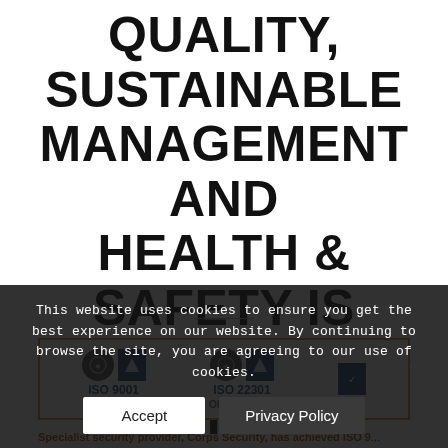QUALITY, SUSTAINABLE MANAGEMENT AND HEALTH & SAFETY IS RECONFIRMED WITH ISO ACCREDITATIONS
[Figure (logo): ISO accreditation badges in a gold-bordered box showing ISO 9001, ISO 22301, ISO 14001, OHSAS 18001, and other certification logos]
Specialist security provider, Corps Security, has achieved ISO 9001... ISO 22301... OHSAS 18001 renewal accreditations, reaffirming its commitment to the
This website uses cookies to ensure you get the best experience on our website. By continuing to browse the site, you are agreeing to our use of cookies.